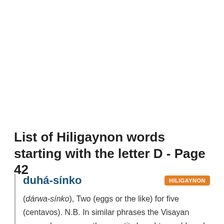List of Hiligaynon words starting with the letter D - Page 42
duhá-sínko
(dárwa-sínko), Two (eggs or the like) for five (centavos). N.B. In similar phrases the Visayan numeral expresses the quantity bought or sold, and the Sp. numeral denotes the amount to be